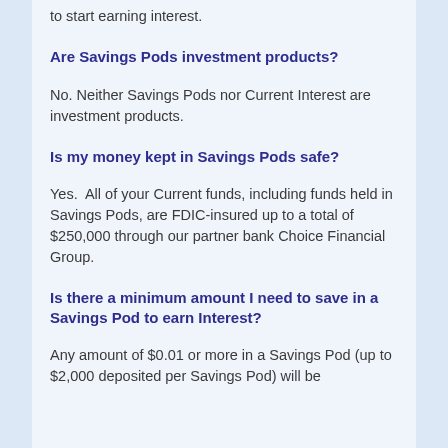to start earning interest.
Are Savings Pods investment products?
No. Neither Savings Pods nor Current Interest are investment products.
Is my money kept in Savings Pods safe?
Yes.  All of your Current funds, including funds held in Savings Pods, are FDIC-insured up to a total of $250,000 through our partner bank Choice Financial Group.
Is there a minimum amount I need to save in a Savings Pod to earn Interest?
Any amount of $0.01 or more in a Savings Pod (up to $2,000 deposited per Savings Pod) will be earning 4.00% APY...